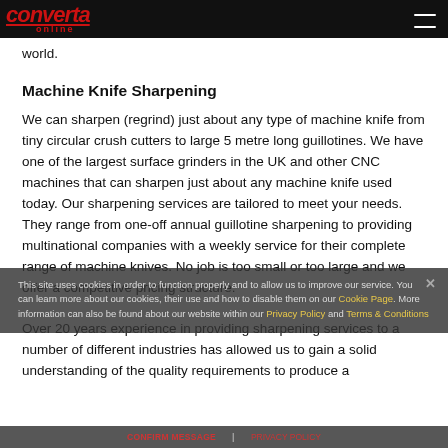converta online
world.
Machine Knife Sharpening
We can sharpen (regrind) just about any type of machine knife from tiny circular crush cutters to large 5 metre long guillotines. We have one of the largest surface grinders in the UK and other CNC machines that can sharpen just about any machine knife used today. Our sharpening services are tailored to meet your needs. They range from one-off annual guillotine sharpening to providing multinational companies with a weekly service for their complete range of machine knives. No job is too small or too large and we offer a competitive pricing structure.

Over 20 years experience in providing sharpening services to a number of different industries has allowed us to gain a solid understanding of the quality requirements to produce a
This site uses cookies in order to function properly and to allow us to improve our service. You can learn more about our cookies, their use and how to disable them on our Cookie Page. More information can also be found about our website within our Privacy Policy and Terms & Conditions